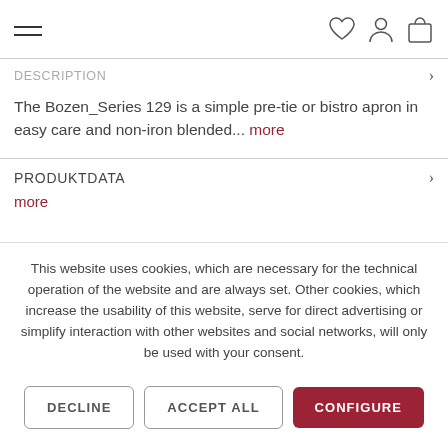Navigation bar with hamburger menu and icons for wishlist, account, and shopping bag
DESCRIPTION
The Bozen_Series 129 is a simple pre-tie or bistro apron in easy care and non-iron blended... more
PRODUKTDATA
more
This website uses cookies, which are necessary for the technical operation of the website and are always set. Other cookies, which increase the usability of this website, serve for direct advertising or simplify interaction with other websites and social networks, will only be used with your consent.
DECLINE | ACCEPT ALL | CONFIGURE